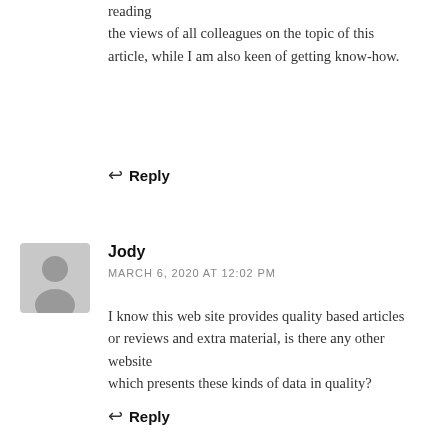reading the views of all colleagues on the topic of this article, while I am also keen of getting know-how.
Reply
Jody
MARCH 6, 2020 AT 12:02 PM
I know this web site provides quality based articles or reviews and extra material, is there any other website which presents these kinds of data in quality?
Reply